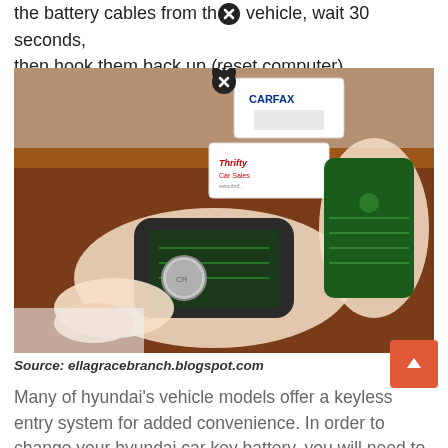the battery cables from the vehicle, wait 30 seconds, then hook them back up (reset computer).
[Figure (photo): Hands holding an open Hyundai key fob, showing the coin cell battery and green circuit board, on a wooden table with Carfax and Thrifty Car Sales cards in background. A close/X button overlay in the top center.]
Source: ellagracebranch.blogspot.com
Many of hyundai's vehicle models offer a keyless entry system for added convenience. In order to change your hyundai car key battery, you will need to take the old battery out of the slot.
[Figure (photo): Bottom portion of another photo, dark/grey surface, with a close/X button overlay in the center.]